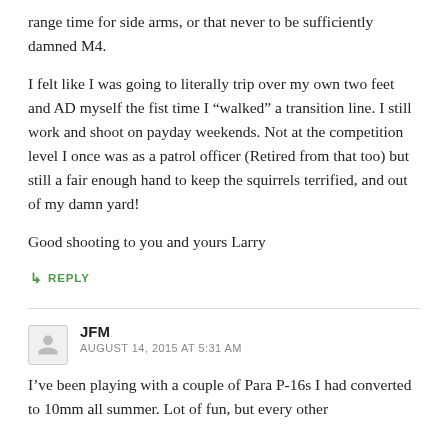range time for side arms, or that never to be sufficiently damned M4.
I felt like I was going to literally trip over my own two feet and AD myself the fist time I “walked” a transition line. I still work and shoot on payday weekends. Not at the competition level I once was as a patrol officer (Retired from that too) but still a fair enough hand to keep the squirrels terrified, and out of my damn yard!
Good shooting to you and yours Larry
↳ REPLY
JFM
AUGUST 14, 2015 AT 5:31 AM
I’ve been playing with a couple of Para P-16s I had converted to 10mm all summer. Lot of fun, but every other